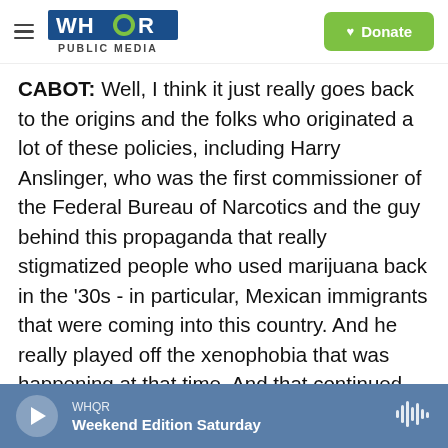WHQR PUBLIC MEDIA | Donate
CABOT: Well, I think it just really goes back to the origins and the folks who originated a lot of these policies, including Harry Anslinger, who was the first commissioner of the Federal Bureau of Narcotics and the guy behind this propaganda that really stigmatized people who used marijuana back in the '30s - in particular, Mexican immigrants that were coming into this country. And he really played off the xenophobia that was happening at that time. And that continued also through the decades to the Black community as well.
And those policies fomented what you saw through
WHQR | Weekend Edition Saturday